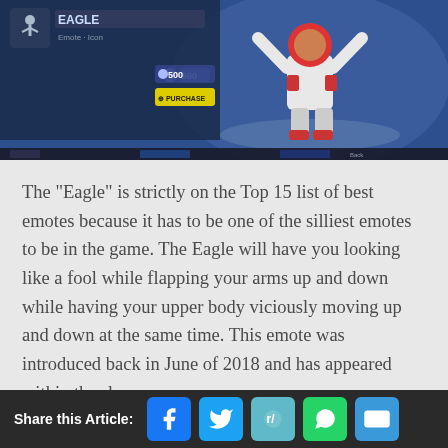[Figure (screenshot): Fortnite game store screenshot showing Eagle emote with character in astronaut suit raising arms, price 500 V-Bucks, Purchase button visible, blue background]
The "Eagle" is strictly on the Top 15 list of best emotes because it has to be one of the silliest emotes to be in the game. The Eagle will have you looking like a fool while flapping your arms up and down while having your upper body viciously moving up and down at the same time. This emote was introduced back in June of 2018 and has appeared within the shop
Share this Article: [Facebook] [Twitter] [Reddit] [WhatsApp] [Email]